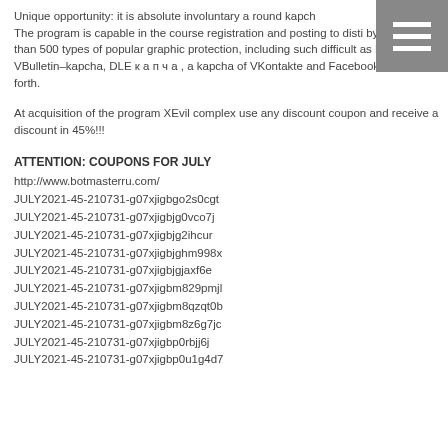Unique opportunity: it is absolute involuntary a round kapch The program is capable in the course registration and posting to distinguish and bypass more than 500 types of popular graphic protection, including such difficult as ReCaptcha, VBulletin–kapcha, DLE к а п ч а , a kapcha of VKontakte and Facebook and so forth.
At acquisition of the program XEvil complex use any discount coupon and receive a discount in 45%!!!
ATTENTION: COUPONS FOR JULY
http://www.botmasterru.com/
JULY2021-45-210731-g07xjigbgo2s0cgt
JULY2021-45-210731-g07xjigbjg0vco7j
JULY2021-45-210731-g07xjigbjg2ihcur
JULY2021-45-210731-g07xjigbjghm998x
JULY2021-45-210731-g07xjigbjgjaxf6e
JULY2021-45-210731-g07xjigbm829pmjl
JULY2021-45-210731-g07xjigbm8qzqt0b
JULY2021-45-210731-g07xjigbm8z6g7jc
JULY2021-45-210731-g07xjigbp0rbjj6j
JULY2021-45-210731-g07xjigbp0u1g4d7